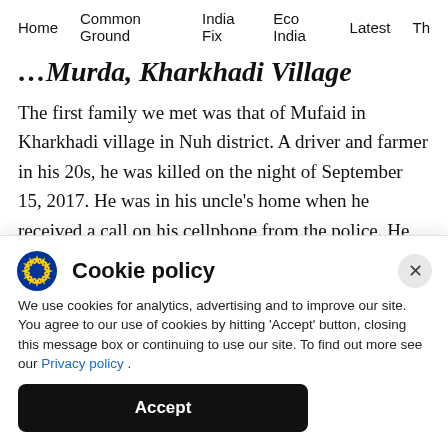Home  Common Ground  India Fix  Eco India  Latest  Th
…Murda, Kharkhadi Village
The first family we met was that of Mufaid in Kharkhadi village in Nuh district. A driver and farmer in his 20s, he was killed on the night of September 15, 2017. He was in his uncle's home when he received a call on his cellphone from the police. He called his father and father-in-law, telling them the police had made him an offer. They
[Figure (screenshot): Cookie policy popup with EU stars logo, title 'Cookie policy', close button (×), body text about cookie use, link to Privacy policy, and black Accept button]
We use cookies for analytics, advertising and to improve our site. You agree to our use of cookies by hitting 'Accept' button, closing this message box or continuing to use our site. To find out more see our Privacy policy .